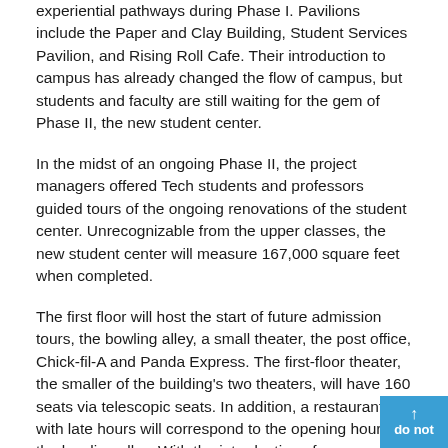experiential pathways during Phase I. Pavilions include the Paper and Clay Building, Student Services Pavilion, and Rising Roll Cafe. Their introduction to campus has already changed the flow of campus, but students and faculty are still waiting for the gem of Phase II, the new student center.
In the midst of an ongoing Phase II, the project managers offered Tech students and professors guided tours of the ongoing renovations of the student center. Unrecognizable from the upper classes, the new student center will measure 167,000 square feet when completed.
The first floor will host the start of future admission tours, the bowling alley, a small theater, the post office, Chick-fil-A and Panda Express. The first-floor theater, the smaller of the building's two theaters, will have 160 seats via telescopic seats. In addition, a restaurant with late hours will correspond to the opening hours of the bowling alley. With the introduction of a new catering service this semester, the project managers do not currently know the specificities of the restaurant.